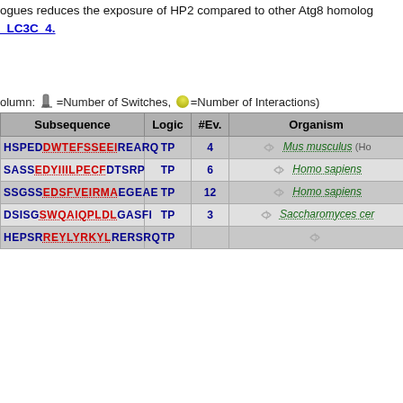ogues reduces the exposure of HP2 compared to other Atg8 homologues _LC3C_4.
(column: =Number of Switches, =Number of Interactions)
| Subsequence | Logic | #Ev. | Organism |
| --- | --- | --- | --- |
| HSPEDDWTEFSSEEIREARQ | TP | 4 | Mus musculus (Ho... |
| SASSEDYIIILPECFDTSRP | TP | 6 | Homo sapiens |
| SSGSSEDSFVEIRMAEGEAE | TP | 12 | Homo sapiens |
| DSISGSWQAIQPLDLGASFI | TP | 3 | Saccharomyces cer... |
| HEPSPREYLYRKYLRERSRQ | TP | ... | ... |